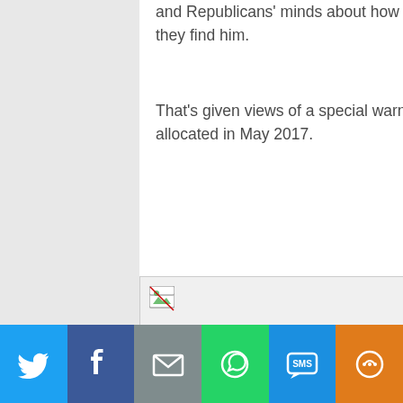and Republicans' minds about how agreeably they perspective Mueller and how infallible they find him.
That's given views of a special warn have turn increasingly polarized given Mueller was allocated in May 2017.
[Figure (other): Broken/missing image placeholder with a small broken image icon in the top-left corner]
Social share bar: Twitter, Facebook, Email, WhatsApp, SMS, More